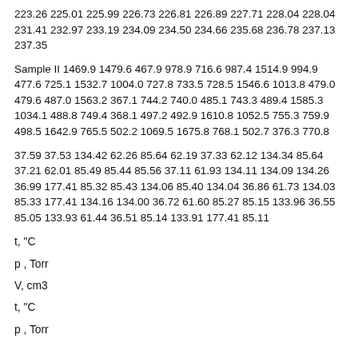223.26 225.01 225.99 226.73 226.81 226.89 227.71 228.04 228.04 231.41 232.97 233.19 234.09 234.50 234.66 235.68 236.78 237.13 237.35
Sample II 1469.9 1479.6 467.9 978.9 716.6 987.4 1514.9 994.9 477.6 725.1 1532.7 1004.0 727.8 733.5 728.5 1546.6 1013.8 479.0 479.6 487.0 1563.2 367.1 744.2 740.0 485.1 743.3 489.4 1585.3 1034.1 488.8 749.4 368.1 497.2 492.9 1610.8 1052.5 755.3 759.9 498.5 1642.9 765.5 502.2 1069.5 1675.8 768.1 502.7 376.3 770.8
37.59 37.53 134.42 62.26 85.64 62.19 37.33 62.12 134.34 85.64 37.21 62.01 85.49 85.44 85.56 37.11 61.93 134.11 134.09 134.26 36.99 177.41 85.32 85.43 134.06 85.40 134.04 36.86 61.73 134.03 85.33 177.41 134.16 134.00 36.72 61.60 85.27 85.15 133.96 36.55 85.05 133.93 61.44 36.51 85.14 133.91 177.41 85.11
t, "C
p , Torr
V, cm3
t, "C
p , Torr